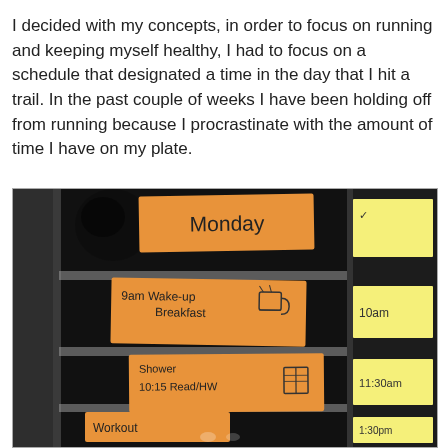I decided with my concepts, in order to focus on running and keeping myself healthy, I had to focus on a schedule that designated a time in the day that I hit a trail. In the past couple of weeks I have been holding off from running because I procrastinate with the amount of time I have on my plate.
[Figure (photo): Photo of a dark door/panel with orange sticky notes arranged as a Monday schedule. Orange note at top says 'Monday', below it '9am Wake-up Breakfast' with a coffee cup drawing, then '10:15 Shower Read/HW' with a book icon. Yellow sticky notes on the right side show times: 10am, 11:30am, 1:30pm. At the bottom a partially visible orange note says 'Workout'.]